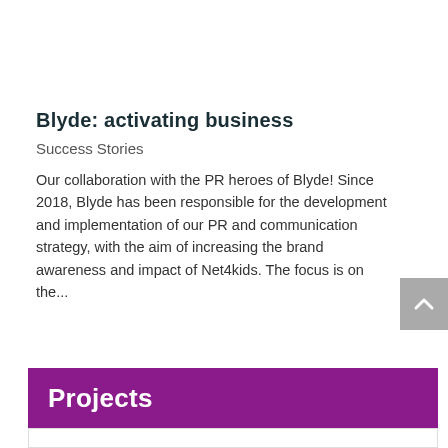Blyde: activating business
Success Stories
Our collaboration with the PR heroes of Blyde! Since 2018, Blyde has been responsible for the development and implementation of our PR and communication strategy, with the aim of increasing the brand awareness and impact of Net4kids. The focus is on the...
Projects